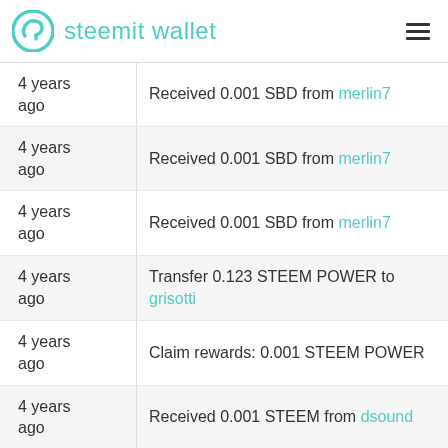steemit wallet
4 years ago | Received 0.001 SBD from merlin7
4 years ago | Received 0.001 SBD from merlin7
4 years ago | Received 0.001 SBD from merlin7
4 years ago | Transfer 0.123 STEEM POWER to grisotti
4 years ago | Claim rewards: 0.001 STEEM POWER
4 years ago | Received 0.001 STEEM from dsound